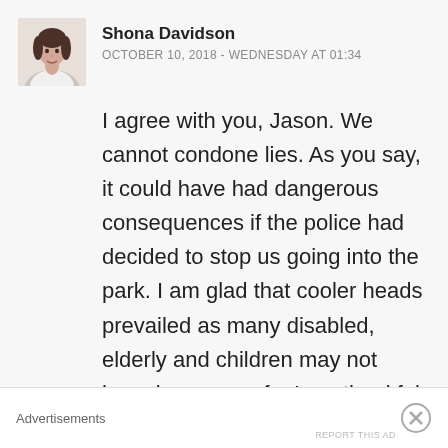[Figure (photo): Small circular/square avatar photo of a woman (Shona Davidson), showing head and shoulders]
Shona Davidson
OCTOBER 10, 2018 - WEDNESDAY AT 01:34
I agree with you, Jason. We cannot condone lies. As you say, it could have had dangerous consequences if the police had decided to stop us going into the park. I am glad that cooler heads prevailed as many disabled, elderly and children may not have been so safe. I am thankful to the police. However I would still have attended the march if I had
Advertisements